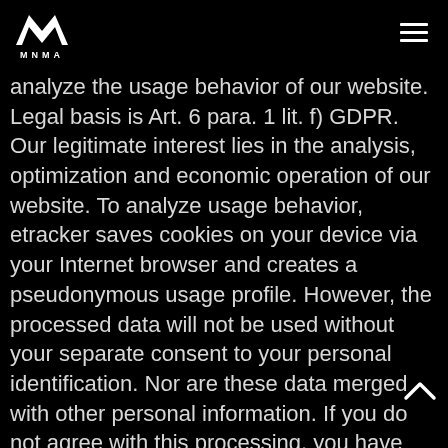MNMA
analyze the usage behavior of our website. Legal basis is Art. 6 para. 1 lit. f) GDPR. Our legitimate interest lies in the analysis, optimization and economic operation of our website. To analyze usage behavior, etracker saves cookies on your device via your Internet browser and creates a pseudonymous usage profile. However, the processed data will not be used without your separate consent to your personal identification. Nor are these data merged with other personal information. If you do not agree with this processing, you have the option to prevent the storage of cookies by a setting in your Internet browser. For more information see "Cookies" below, and aditi